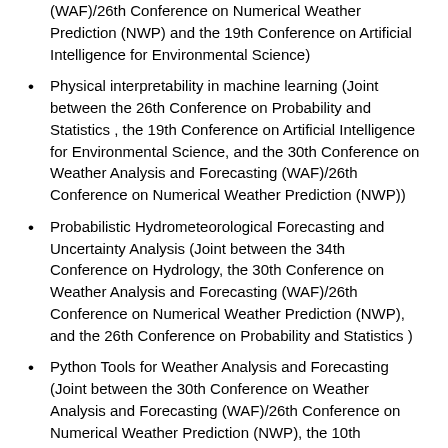(WAF)/26th Conference on Numerical Weather Prediction (NWP) and the 19th Conference on Artificial Intelligence for Environmental Science)
Physical interpretability in machine learning (Joint between the 26th Conference on Probability and Statistics , the 19th Conference on Artificial Intelligence for Environmental Science, and the 30th Conference on Weather Analysis and Forecasting (WAF)/26th Conference on Numerical Weather Prediction (NWP))
Probabilistic Hydrometeorological Forecasting and Uncertainty Analysis (Joint between the 34th Conference on Hydrology, the 30th Conference on Weather Analysis and Forecasting (WAF)/26th Conference on Numerical Weather Prediction (NWP), and the 26th Conference on Probability and Statistics )
Python Tools for Weather Analysis and Forecasting (Joint between the 30th Conference on Weather Analysis and Forecasting (WAF)/26th Conference on Numerical Weather Prediction (NWP), the 10th Symposium on Advances in Modeling and Analysis